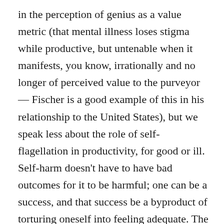in the perception of genius as a value metric (that mental illness loses stigma while productive, but untenable when it manifests, you know, irrationally and no longer of perceived value to the purveyor— Fischer is a good example of this in his relationship to the United States), but we speak less about the role of self-flagellation in productivity, for good or ill. Self-harm doesn't have to have bad outcomes for it to be harmful; one can be a success, and that success be a byproduct of torturing oneself into feeling adequate. The problem with this being unchecked is that this often projects outwards in some form or another; a former friend of mine once put this as “mania being contagious”, and it makes a certain kind of sense that if you sympathetically are aware of the mental state of those you’re close you, the impulse to develop reflexes to match, at least anecdotally, is natural if you choose to